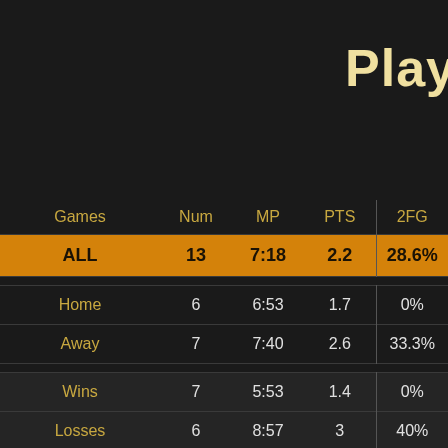Play
| Games | Num | MP | PTS | 2FG |
| --- | --- | --- | --- | --- |
| ALL | 13 | 7:18 | 2.2 | 28.6% |
| Home | 6 | 6:53 | 1.7 | 0% |
| Away | 7 | 7:40 | 2.6 | 33.3% |
| Wins | 7 | 5:53 | 1.4 | 0% |
| Losses | 6 | 8:57 | 3 | 40% |
| Games < 5pts | 1 | 11:41 | 5 | 100% |
| Games > 5pts | 12 | 6:56 | 1.9 | 23.1% |